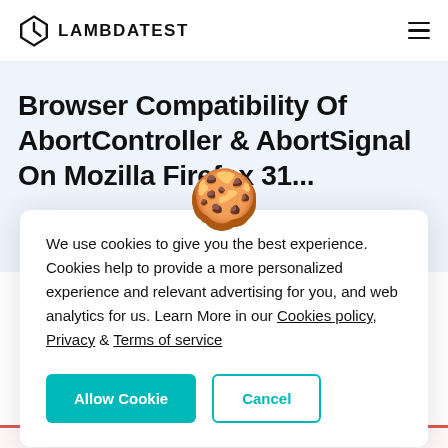LAMBDATEST
Browser Compatibility Of AbortController & AbortSignal On Mozilla Firefox 31...
[Figure (illustration): Cookie emoji illustration overlaid on page]
We use cookies to give you the best experience. Cookies help to provide a more personalized experience and relevant advertising for you, and web analytics for us. Learn More in our Cookies policy, Privacy & Terms of service
Allow Cookie | Cancel